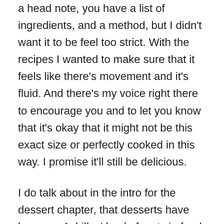a head note, you have a list of ingredients, and a method, but I didn't want it to be feel too strict. With the recipes I wanted to make sure that it feels like there's movement and it's fluid. And there's my voice right there to encourage you and to let you know that it's okay that it might not be this exact size or perfectly cooked in this way. I promise it'll still be delicious.
I do talk about in the intro for the dessert chapter, that desserts have been my Achilles' heel of sorts in food. I worked in restaurants and developing so many recipes, the majority has been savory over sweet. But I do love desserts. I genuinely want to just develop more dessert recipes. There's only five in the book, I'll admit that. What's really important for me, and I think for anybody who is creative or has their respected craft, is to